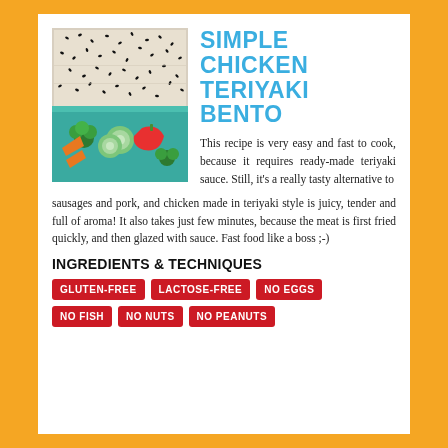[Figure (photo): Bento box with rice topped with sesame seeds on top compartment, and vegetables (broccoli, cucumber, red pepper, carrots) in bottom compartment]
SIMPLE CHICKEN TERIYAKI BENTO
This recipe is very easy and fast to cook, because it requires ready-made teriyaki sauce. Still, it's a really tasty alternative to sausages and pork, and chicken made in teriyaki style is juicy, tender and full of aroma! It also takes just few minutes, because the meat is first fried quickly, and then glazed with sauce. Fast food like a boss ;-)
INGREDIENTS & TECHNIQUES
GLUTEN-FREE
LACTOSE-FREE
NO EGGS
NO FISH
NO NUTS
NO PEANUTS